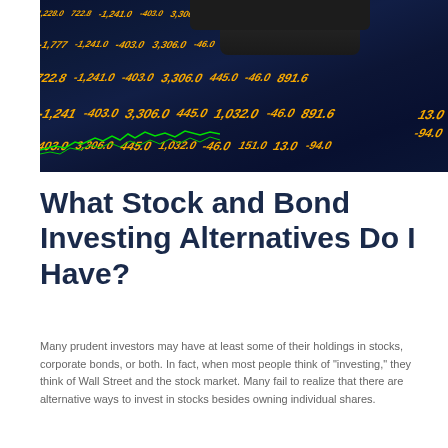[Figure (photo): Close-up photo of a stock market ticker board showing orange/yellow financial numbers and figures on a dark blue background, with a calculator/remote control visible at the top. Green candlestick chart lines visible at bottom left.]
What Stock and Bond Investing Alternatives Do I Have?
Many prudent investors may have at least some of their holdings in stocks, corporate bonds, or both. In fact, when most people think of “investing,” they think of Wall Street and the stock market. Many fail to realize that there are alternative ways to invest in stocks besides owning individual shares.